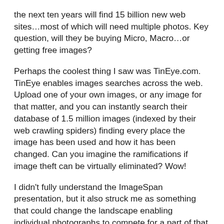the next ten years will find 15 billion new web sites…most of which will need multiple photos. Key question, will they be buying Micro, Macro…or getting free images?
Perhaps the coolest thing I saw was TinEye.com. TinEye enables images searches across the web. Upload one of your own images, or any image for that matter, and you can instantly search their database of 1.5 million images (indexed by their web crawling spiders) finding every place the image has been used and how it has been changed. Can you imagine the ramifications if image theft can be virtually eliminated? Wow!
I didn't fully understand the ImageSpan presentation, but it also struck me as something that could change the landscape enabling individual photographs to compete for a part of that online pie. I'll have to check that out a little further. I also got a better understanding of Creative Commons and think that might also be able to play a role in diminishing online theft and increasing at least the awareness and mind set that every image has value. That can only help our industry.